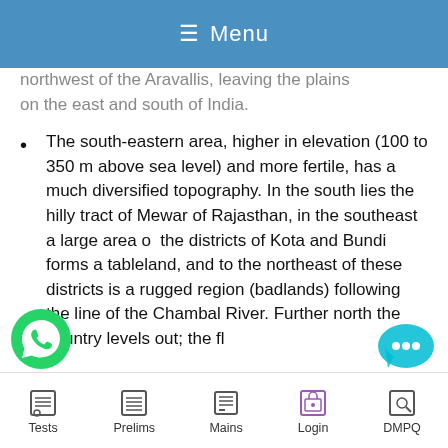≡ Menu
northwest of the Aravallis, leaving the plains on the east and south of India.
The south-eastern area, higher in elevation (100 to 350 m above sea level) and more fertile, has a much diversified topography. In the south lies the hilly tract of Mewar of Rajasthan, in the southeast a large area of the districts of Kota and Bundi forms a tableland, and to the northeast of these districts is a rugged region (badlands) following the line of the Chambal River. Further north the country levels out; the fl
Tests  Prelims  Mains  Login  DMPQ